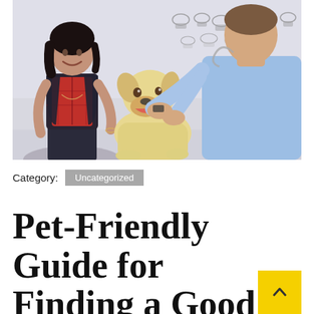[Figure (photo): A smiling dark-haired woman in a red plaid shirt and black vest holds a yellow Labrador dog being examined by a male veterinarian in a light blue scrub top. The setting is a veterinary clinic with animal anatomy posters on the wall behind them.]
Category: Uncategorized
Pet-Friendly Guide for Finding a Good Vet Clinic